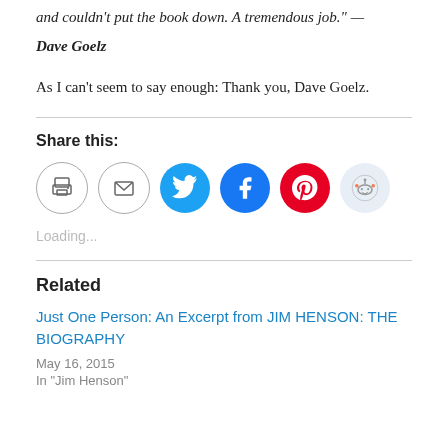and couldn't put the book down. A tremendous job." — Dave Goelz
As I can't seem to say enough: Thank you, Dave Goelz.
Share this:
[Figure (other): Social sharing icons: print, email, Twitter, Facebook, Pinterest, Reddit]
Loading...
Related
Just One Person: An Excerpt from JIM HENSON: THE BIOGRAPHY
May 16, 2015
In "Jim Henson"